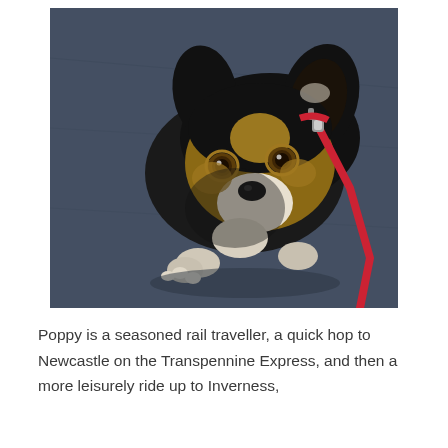[Figure (photo): A small black, tan, and white dog (resembling a Beagle mix) lying on a dark blue carpet. The dog is looking up at the camera with brown eyes. It is wearing a red leash attached to a collar.]
Poppy is a seasoned rail traveller, a quick hop to Newcastle on the Transpennine Express, and then a more leisurely ride up to Inverness,